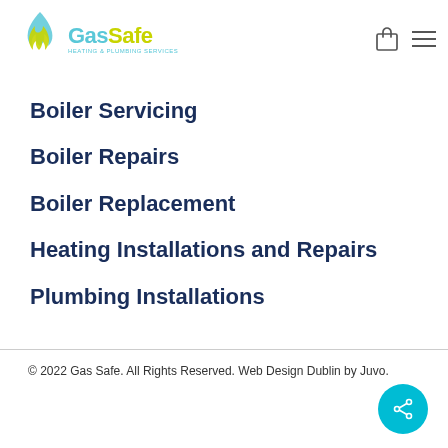[Figure (logo): GasSafe Heating & Plumbing Services logo with flame icon in teal/yellow and company name]
Boiler Servicing
Boiler Repairs
Boiler Replacement
Heating Installations and Repairs
Plumbing Installations
© 2022 Gas Safe. All Rights Reserved. Web Design Dublin by Juvo.